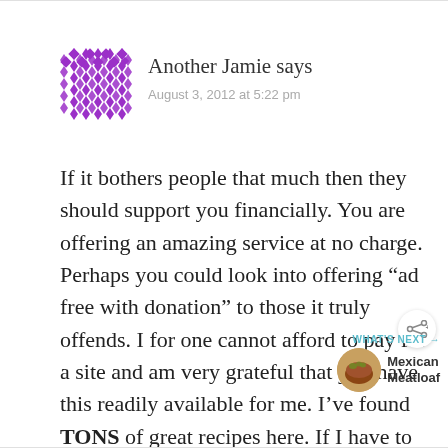[Figure (illustration): Purple geometric/diamond pattern avatar icon for user 'Another Jamie']
Another Jamie says
August 3, 2012 at 5:22 pm
If it bothers people that much then they should support you financially. You are offering an amazing service at no charge. Perhaps you could look into offering “ad free with donation” to those it truly offends. I for one cannot afford to pay for a site and am very grateful that you have this readily available for me. I’ve found TONS of great recipes here. If I have to p with clicking out of annoying ads then
[Figure (photo): Circular thumbnail of Mexican Meatloaf dish]
WHAT’S NEXT → Mexican Meatloaf